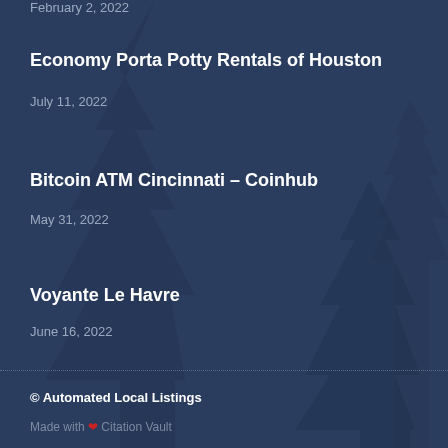February 2, 2022
Economy Porta Potty Rentals of Houston
July 11, 2022
Bitcoin ATM Cincinnati – Coinhub
May 31, 2022
Voyante Le Havre
June 16, 2022
© Automated Local Listings
Made with ❤ Citation Vault